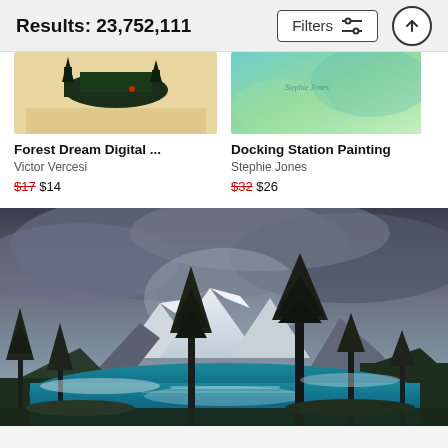Results: 23,752,111
[Figure (screenshot): Filters button with sliders icon]
[Figure (screenshot): Up arrow circle button]
[Figure (photo): Forest Dream Digital art thumbnail - small boat on beige/cream background with dark forest]
Forest Dream Digital ...
Victor Vercesi
$17 $14
[Figure (photo): Docking Station Painting thumbnail - teal and green watercolor style]
Docking Station Painting
Stephie Jones
$32 $26
[Figure (photo): Large landscape photo of a mountain lake scene with pine trees, snow-capped mountains, dramatic cloudy sky, and blue reflective water - Moraine Lake style]